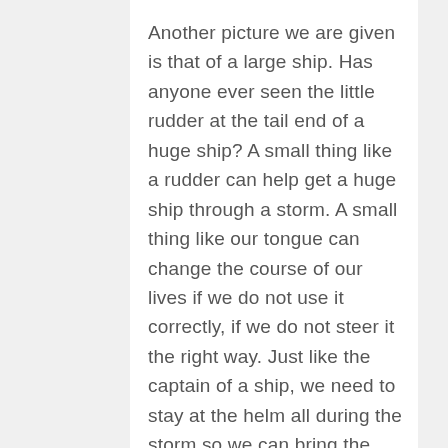Another picture we are given is that of a large ship. Has anyone ever seen the little rudder at the tail end of a huge ship? A small thing like a rudder can help get a huge ship through a storm. A small thing like our tongue can change the course of our lives if we do not use it correctly, if we do not steer it the right way. Just like the captain of a ship, we need to stay at the helm all during the storm so we can bring the ship to safety. Proverbs 6:16, 17 say there are seven things God hates. A lying tongue is one of them. Let that not be us as we grow up in the ways of